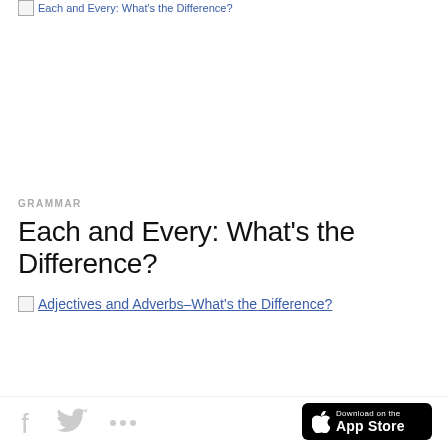[Figure (screenshot): Broken image placeholder link at top of page, blue link text partially visible]
GRAMMAR
Each and Every: What's the Difference?
[Figure (screenshot): Broken image placeholder with blue link text: Adjectives and Adverbs–What's the Difference?]
Social share icons (Facebook, Twitter, more) and Download on the App Store badge